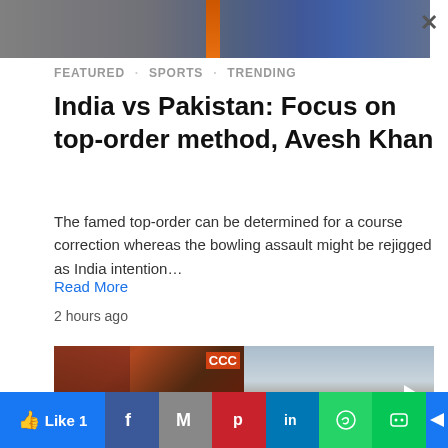[Figure (photo): Partial banner image showing a cricket player in blue uniform with orange detail, gray background. Has an X close button.]
FEATURED  SPORTS  TRENDING
India vs Pakistan: Focus on top-order method, Avesh Khan
The famed top-order can be determined for a course correction whereas the bowling assault might be rejigged as India intention…
Read More
2 hours ago
[Figure (photo): Two-panel image: left panel shows a man in a black cap in front of a CCC sign; right panel shows an outdoor scene with a play button overlay.]
Like 1  [Facebook]  [Mail]  [Pinterest]  [LinkedIn]  [WhatsApp]  [Line]  [Share]